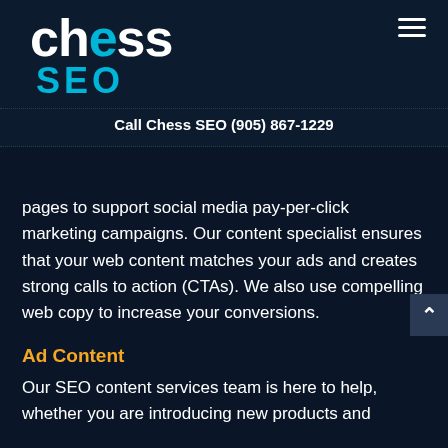[Figure (logo): Chess SEO logo — white bold 'chess' text with cyan 'e', cyan bold 'SEO' below, on dark navy background]
Call Chess SEO (905) 867-1229
pages to support social media pay-per-click marketing campaigns. Our content specialist ensures that your web content matches your ads and creates strong calls to action (CTAs). We also use compelling web copy to increase your conversions.
Ad Content
Our SEO content services team is here to help, whether you are introducing new products and